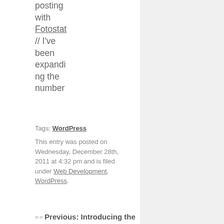posting with Fotostat // I've been expanding the number
Tags: WordPress
This entry was posted on Wednesday, December 28th, 2011 at 4:32 pm and is filed under Web Development, WordPress.
« « Previous: Introducing the